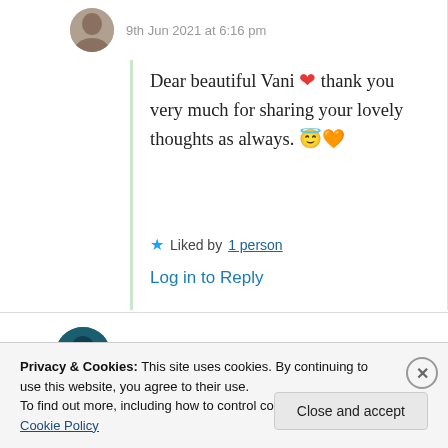9th Jun 2021 at 6:16 pm
Dear beautiful Vani ❤ thank you very much for sharing your lovely thoughts as always. 😇🧡
★ Liked by 1 person
Log in to Reply
Filarance
Privacy & Cookies: This site uses cookies. By continuing to use this website, you agree to their use. To find out more, including how to control cookies, see here: Cookie Policy
Close and accept